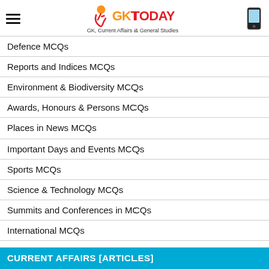GKToday — GK, Current Affairs & General Studies
Defence MCQs
Reports and Indices MCQs
Environment & Biodiversity MCQs
Awards, Honours & Persons MCQs
Places in News MCQs
Important Days and Events MCQs
Sports MCQs
Science & Technology MCQs
Summits and Conferences in MCQs
International MCQs
Art & Culture MCQs
CURRENT AFFAIRS [ARTICLES]